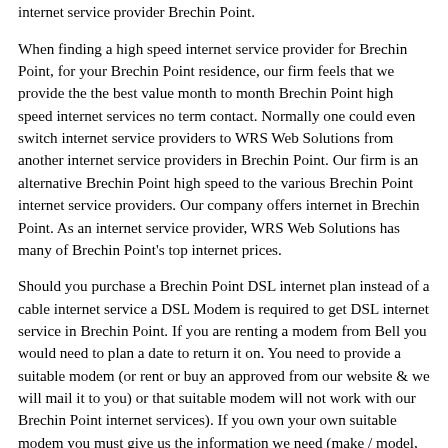internet service provider Brechin Point.
When finding a high speed internet service provider for Brechin Point, for your Brechin Point residence, our firm feels that we provide the the best value month to month Brechin Point high speed internet services no term contact. Normally one could even switch internet service providers to WRS Web Solutions from another internet service providers in Brechin Point. Our firm is an alternative Brechin Point high speed to the various Brechin Point internet service providers. Our company offers internet in Brechin Point. As an internet service provider, WRS Web Solutions has many of Brechin Point's top internet prices.
Should you purchase a Brechin Point DSL internet plan instead of a cable internet service a DSL Modem is required to get DSL internet service in Brechin Point. If you are renting a modem from Bell you would need to plan a date to return it on. You need to provide a suitable modem (or rent or buy an approved from our website & we will mail it to you) or that suitable modem will not work with our Brechin Point internet services). If you own your own suitable modem you must give us the information we need (make / model, serial number, plus the 'macid' or 'machine ID') when you place that Brechin Point high speed internet order online with us. We retail both non-wireless modems & wireless modems, please be sure to select the one you really wanted! If you buy a modem from us, a shipping cost will be added when you buy it (displayed in the order taking system as a 'setup fee' but it is